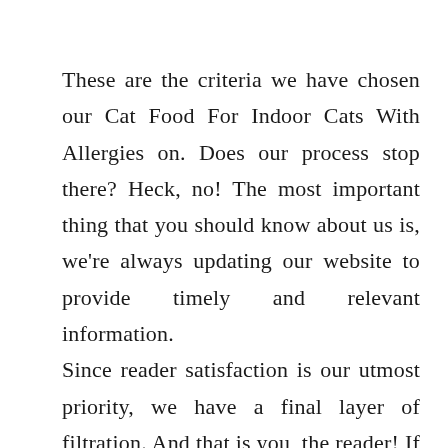These are the criteria we have chosen our Cat Food For Indoor Cats With Allergies on. Does our process stop there? Heck, no! The most important thing that you should know about us is, we're always updating our website to provide timely and relevant information. Since reader satisfaction is our utmost priority, we have a final layer of filtration. And that is you, the reader! If you find any Cat Food For Indoor Cats With Allergies featured here Incorrect, irrelevant, not up to the mark, or simply outdated, please let us know. Your feedback is always welcome and we'll try to promptly correct our list as per your reasonable suggestion.